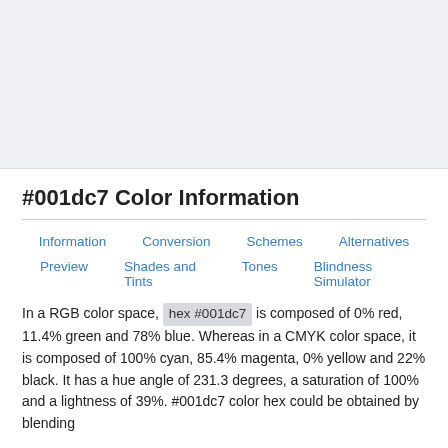#001dc7 Color Information
Information
Conversion
Schemes
Alternatives
Preview
Shades and Tints
Tones
Blindness Simulator
In a RGB color space, hex #001dc7 is composed of 0% red, 11.4% green and 78% blue. Whereas in a CMYK color space, it is composed of 100% cyan, 85.4% magenta, 0% yellow and 22% black. It has a hue angle of 231.3 degrees, a saturation of 100% and a lightness of 39%. #001dc7 color hex could be obtained by blending